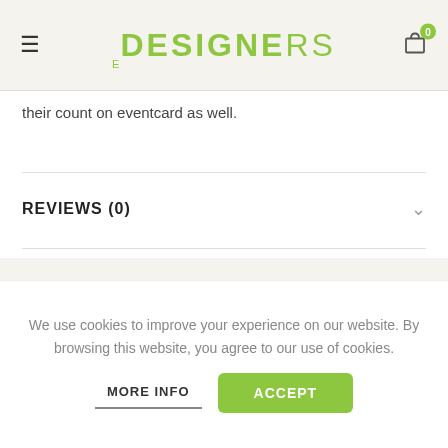eDESIGNERS
their count on eventcard as well.
REVIEWS (0)
RELATED PRODUCTS
We use cookies to improve your experience on our website. By browsing this website, you agree to our use of cookies.